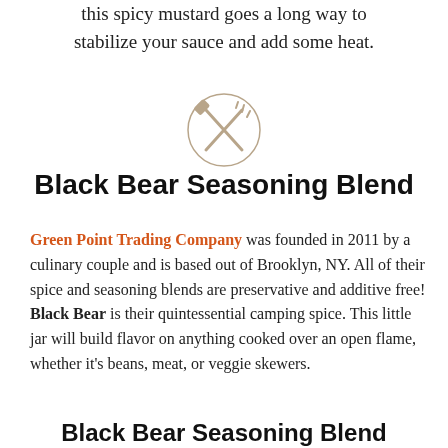this spicy mustard goes a long way to stabilize your sauce and add some heat.
[Figure (illustration): Circular icon with crossed fork and spatula utensils, light brown/tan color]
Black Bear Seasoning Blend
Green Point Trading Company was founded in 2011 by a culinary couple and is based out of Brooklyn, NY. All of their spice and seasoning blends are preservative and additive free! Black Bear is their quintessential camping spice. This little jar will build flavor on anything cooked over an open flame, whether it's beans, meat, or veggie skewers.
Black Bear Seasoning Blend